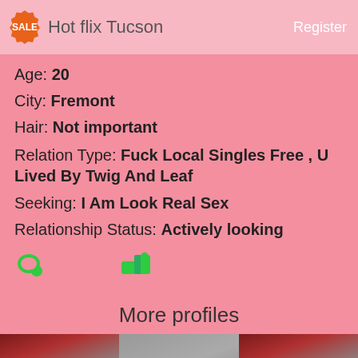SALE Hot flix Tucson   Register
Age: 20
City: Fremont
Hair: Not important
Relation Type: Fuck Local Singles Free , U Lived By Twig And Leaf
Seeking: I Am Look Real Sex
Relationship Status: Actively looking
More profiles
[Figure (photo): Three thumbnail photos at the bottom of the page showing profile pictures with dark red/brown tones.]